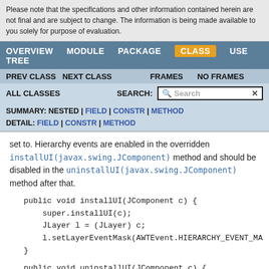Please note that the specifications and other information contained herein are not final and are subject to change. The information is being made available to you solely for purpose of evaluation.
OVERVIEW   MODULE   PACKAGE   CLASS   USE   TREE
PREV CLASS   NEXT CLASS   FRAMES   NO FRAMES
ALL CLASSES   SEARCH:  [Search]
SUMMARY: NESTED | FIELD | CONSTR | METHOD
DETAIL: FIELD | CONSTR | METHOD
set to. Hierarchy events are enabled in the overridden installUI(javax.swing.JComponent) method and should be disabled in the uninstallUI(javax.swing.JComponent) method after that.
public void installUI(JComponent c) {
    super.installUI(c);
    JLayer l = (JLayer) c;
    l.setLayerEventMask(AWTEvent.HIERARCHY_EVENT_MA
}
public void uninstallUI(JComponent c) {
    super.uninstallUI(c);